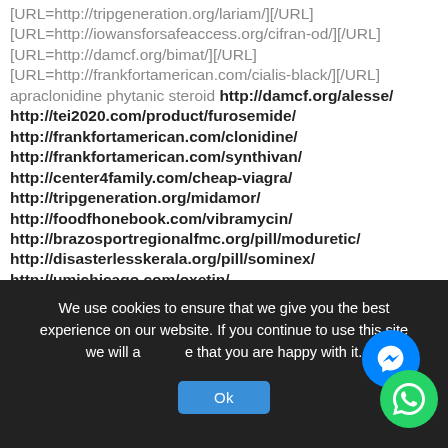[URL=http://tripgeneration.org/lariam/][/URL]
[URL=http://iowansforsafeaccess.org/cifran-od/][/URL]
[URL=http://damcf.org/bimat/][/URL]
[URL=http://frankfortamerican.com/cialis-black/][/URL]
apraclonidine phytanic steroid http://damcf.org/alesse/
http://tei2020.com/product/furosemide/
http://frankfortamerican.com/clonidine/
http://frankfortamerican.com/synthivan/
http://center4family.com/cheap-viagra/
http://tripgeneration.org/midamor/
http://foodfhonebook.com/vibramycin/
http://brazosportregionalfmc.org/pill/moduretic/
http://disasterlesskerala.org/pill/sominex/
http://umichicago.com/oxetin/
http://heavenlyhappyhour.com/vitria/
http://tripgeneration.org/lariam/
http://iowansforsafeaccess.org/cifran-od/
We use cookies to ensure that we give you the best experience on our website. If you continue to use this site we will assume that you are happy with it.